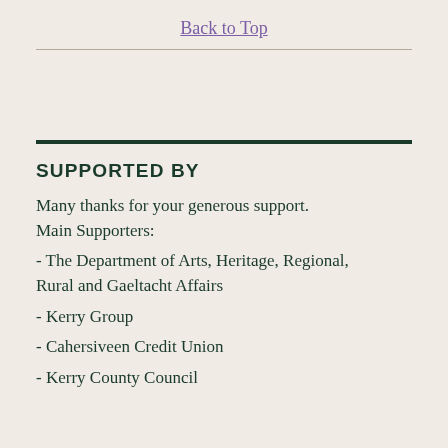Back to Top
SUPPORTED BY
Many thanks for your generous support.
Main Supporters:
- The Department of Arts, Heritage, Regional, Rural and Gaeltacht Affairs
- Kerry Group
- Cahersiveen Credit Union
- Kerry County Council